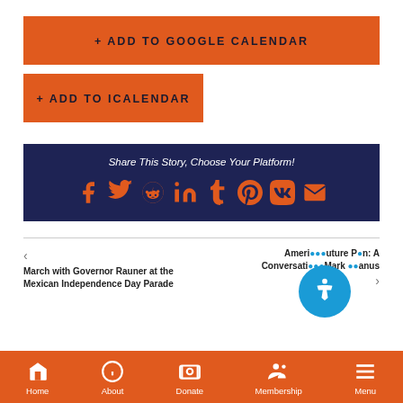+ ADD TO GOOGLE CALENDAR
+ ADD TO ICALENDAR
[Figure (infographic): Share This Story social bar with icons for Facebook, Twitter, Reddit, LinkedIn, Tumblr, Pinterest, VK, and Email on dark navy background]
March with Governor Rauner at the Mexican Independence Day Parade
America's Future P...n: A Conversation...Mark ...anus
Home | About | Donate | Membership | Menu